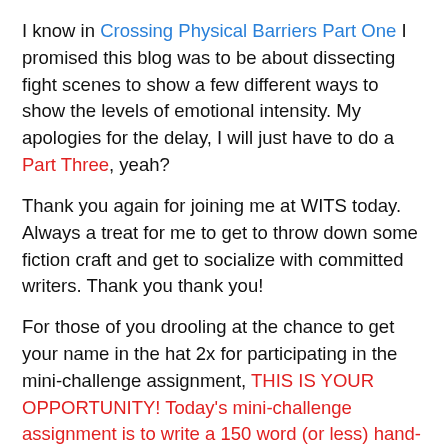I know in Crossing Physical Barriers Part One I promised this blog was to be about dissecting fight scenes to show a few different ways to show the levels of emotional intensity. My apologies for the delay, I will just have to do a Part Three, yeah?
Thank you again for joining me at WITS today. Always a treat for me to get to throw down some fiction craft and get to socialize with committed writers. Thank you thank you!
For those of you drooling at the chance to get your name in the hat 2x for participating in the mini-challenge assignment, THIS IS YOUR OPPORTUNITY! Today's mini-challenge assignment is to write a 150 word (or less) hand-to-hand altercation between two characters, bonus points if you involve an impromptu weapon. And as per usual, I will be your teacher for the day and provide